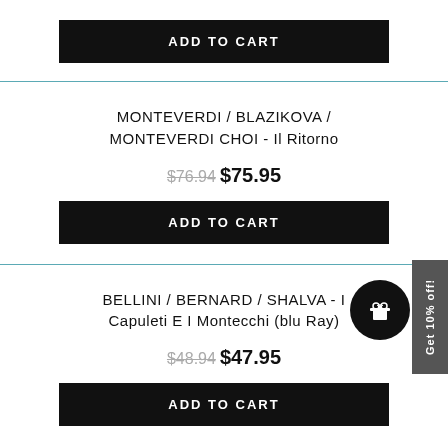[Figure (other): ADD TO CART black button at top]
MONTEVERDI / BLAZIKOVA / MONTEVERDI CHOI - Il Ritorno
$76.94 $75.95
[Figure (other): ADD TO CART black button]
BELLINI / BERNARD / SHALVA - I Capuleti E I Montecchi (blu Ray)
$48.94 $47.95
[Figure (other): ADD TO CART black button at bottom]
[Figure (other): Get 10% off sidebar promo tab with gift icon circle]